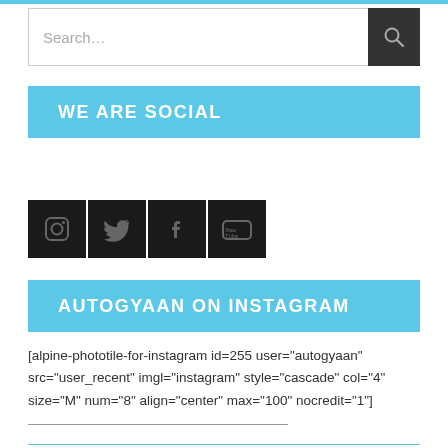[Figure (screenshot): Search bar with text input field showing 'Search...' placeholder and a dark search button with magnifying glass icon]
WE ARE SOCIAL
[Figure (illustration): Four social media icon buttons in dark/black square tiles: Instagram, Twitter, Facebook, YouTube]
AUTOGYAAN ON INSTAGRAM
[alpine-phototile-for-instagram id=255 user="autogyaan" src="user_recent" imgl="instagram" style="cascade" col="4" size="M" num="8" align="center" max="100" nocredit="1"]